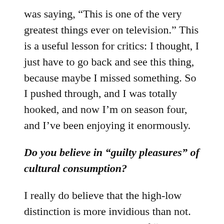was saying, “This is one of the very greatest things ever on television.” This is a useful lesson for critics: I thought, I just have to go back and see this thing, because maybe I missed something. So I pushed through, and I was totally hooked, and now I’m on season four, and I’ve been enjoying it enormously.
Do you believe in “guilty pleasures” of cultural consumption?
I really do believe that the high-low distinction is more invidious than not. The aesthetic components of “guilt”-inducing pleasures are usually melodrama and sentimentality. I have a great aversion to the aversion to sentimentality. To me, what made Mad Men unbearable was its own incredible overweening need to be cool. And because it was so cool and so cynical about everything, I